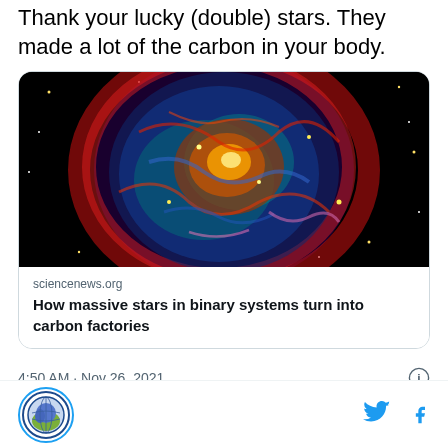Thank your lucky (double) stars. They made a lot of the carbon in your body.
[Figure (photo): Colorful nebula (supernova remnant) image — Cassiopeia A — showing swirling clouds of red, blue, green, and orange gas against a black starfield with bright yellow stars.]
sciencenews.org
How massive stars in binary systems turn into carbon factories
4:50 AM · Nov 26, 2021
Footer with organization logo, Twitter and Facebook icons